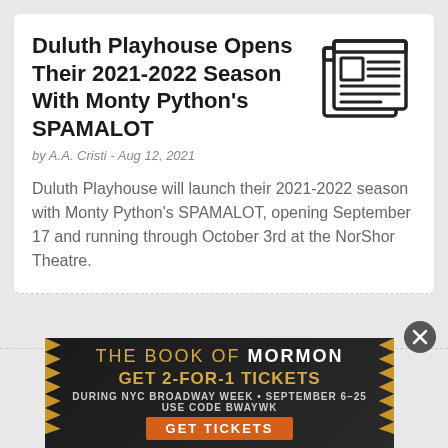Duluth Playhouse Opens Their 2021-2022 Season With Monty Python's SPAMALOT
by A.A. Cristi - Aug 12, 2021
[Figure (illustration): Newspaper icon — stylized newspaper with lines representing text]
Duluth Playhouse will launch their 2021-2022 season with Monty Python's SPAMALOT, opening September 17 and running through October 3rd at the NorShor Theatre.
[Figure (infographic): Advertisement for The Book of Mormon musical. Text reads: THE BOOK OF MORMON | GET 2-FOR-1 TICKETS | DURING NYC BROADWAY WEEK • SEPTEMBER 6-25 | USE CODE BWAYWK | GET TICKETS]